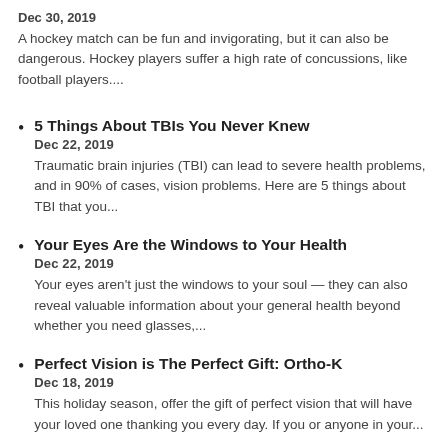Dec 30, 2019
A hockey match can be fun and invigorating, but it can also be dangerous. Hockey players suffer a high rate of concussions, like football players....
5 Things About TBIs You Never Knew
Dec 22, 2019
Traumatic brain injuries (TBI) can lead to severe health problems, and in 90% of cases, vision problems. Here are 5 things about TBI that you...
Your Eyes Are the Windows to Your Health
Dec 22, 2019
Your eyes aren't just the windows to your soul — they can also reveal valuable information about your general health beyond whether you need glasses,...
Perfect Vision is The Perfect Gift: Ortho-K
Dec 18, 2019
This holiday season, offer the gift of perfect vision that will have your loved one thanking you every day. If you or anyone in your...